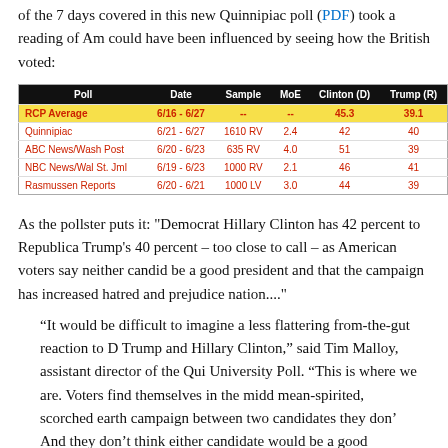of the 7 days covered in this new Quinnipiac poll (PDF) took a reading of Am could have been influenced by seeing how the British voted:
| Poll | Date | Sample | MoE | Clinton (D) | Trump (R) |
| --- | --- | --- | --- | --- | --- |
| RCP Average | 6/16 - 6/27 | -- | -- | 45.3 | 39.1 |
| Quinnipiac | 6/21 - 6/27 | 1610 RV | 2.4 | 42 | 40 |
| ABC News/Wash Post | 6/20 - 6/23 | 635 RV | 4.0 | 51 | 39 |
| NBC News/Wal St. Jml | 6/19 - 6/23 | 1000 RV | 2.1 | 46 | 41 |
| Rasmussen Reports | 6/20 - 6/21 | 1000 LV | 3.0 | 44 | 39 |
As the pollster puts it: "Democrat Hillary Clinton has 42 percent to Republica Trump's 40 percent – too close to call – as American voters say neither candid be a good president and that the campaign has increased hatred and prejudice nation...."
“It would be difficult to imagine a less flattering from-the-gut reaction to D Trump and Hillary Clinton,” said Tim Malloy, assistant director of the Qui University Poll. “This is where we are. Voters find themselves in the midd mean-spirited, scorched earth campaign between two candidates they don’ And they don’t think either candidate would be a good president.”
That’s one way to look at it. These nasty people are fighting too hard and too c that’s off-putting to us Americans who like harmony and niceness. In the